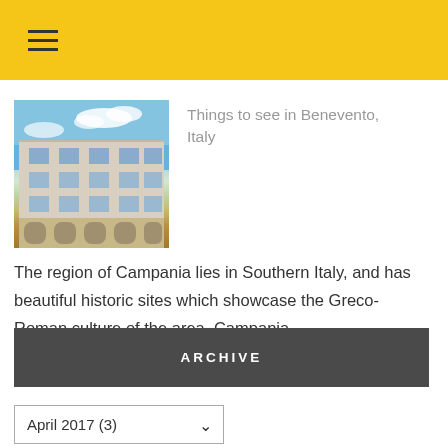☰ (hamburger menu icon)
[Figure (photo): Photo of a historic white multi-story building in Benevento, Italy against a blue sky]
Things to see in Benevento, Italy
The region of Campania lies in Southern Italy, and has beautiful historic sites which showcase the Greco-Roman culture of the area. Campania...
ARCHIVE
April 2017 (3)
INSTAGRAM